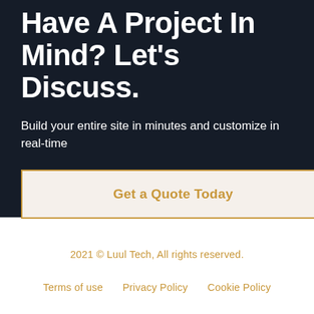Have A Project In Mind? Let's Discuss.
Build your entire site in minutes and customize in real-time
Get a Quote Today
2021 © Luul Tech, All rights reserved.
Terms of use   Privacy Policy   Cookie Policy